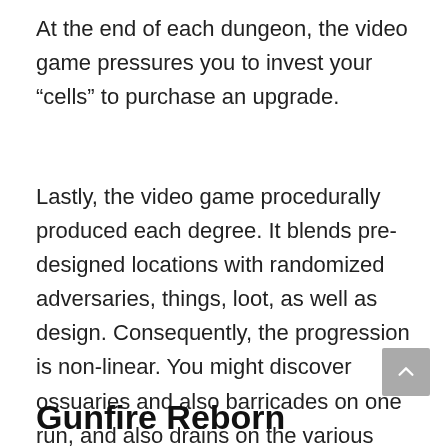At the end of each dungeon, the video game pressures you to invest your “cells” to purchase an upgrade.
Lastly, the video game procedurally produced each degree. It blends pre-designed locations with randomized adversaries, things, loot, as well as design. Consequently, the progression is non-linear. You might discover ossuaries and also barricades on one run, and also drains on the various other.
Gunfire Reborn